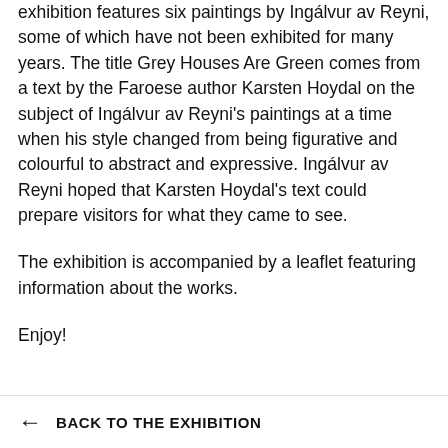exhibition features six paintings by Ingálvur av Reyni, some of which have not been exhibited for many years. The title Grey Houses Are Green comes from a text by the Faroese author Karsten Hoydal on the subject of Ingálvur av Reyni's paintings at a time when his style changed from being figurative and colourful to abstract and expressive. Ingálvur av Reyni hoped that Karsten Hoydal's text could prepare visitors for what they came to see.
The exhibition is accompanied by a leaflet featuring information about the works.
Enjoy!
← BACK TO THE EXHIBITION